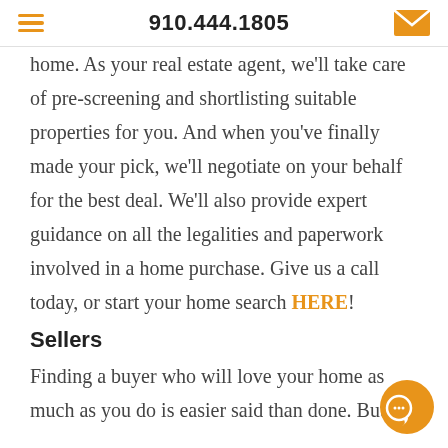910.444.1805
home. As your real estate agent, we'll take care of pre-screening and shortlisting suitable properties for you. And when you've finally made your pick, we'll negotiate on your behalf for the best deal. We'll also provide expert guidance on all the legalities and paperwork involved in a home purchase. Give us a call today, or start your home search HERE!
Sellers
Finding a buyer who will love your home as much as you do is easier said than done. But